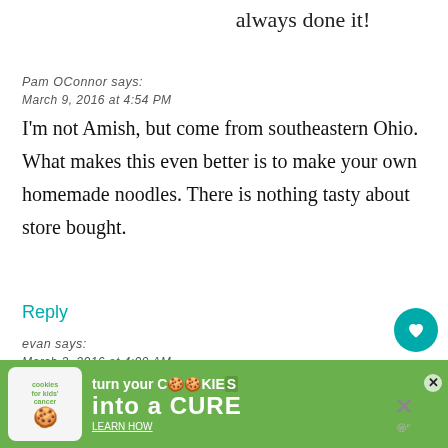always done it!
Pam OConnor says:
March 9, 2016 at 4:54 PM
I'm not Amish, but come from southeastern Ohio. What makes this even better is to make your own homemade noodles. There is nothing tasty about store bought.
Reply
evan says:
March 3, 2016 at 4:09 AM
Just...
[Figure (infographic): Green advertisement banner for 'cookies for kids cancer' - turn your COOKIES into a CURE LEARN HOW]